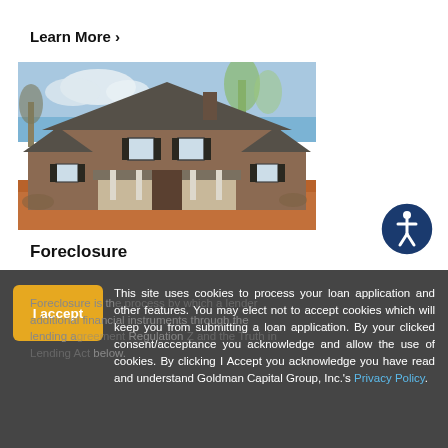Learn More >
[Figure (photo): A large two-story brick house with gray roof, front porch, multiple windows with dark shutters, set on a red-dirt lot with bare trees in the background and blue sky with clouds.]
[Figure (illustration): Circular accessibility icon: dark blue circle with white stylized human figure (stick person with arms raised).]
Foreclosure
This site uses cookies to process your loan application and other features. You may elect not to accept cookies which will keep you from submitting a loan application. By your clicked consent/acceptance you acknowledge and allow the use of cookies. By clicking I Accept you acknowledge you have read and understand Goldman Capital Group, Inc.'s Privacy Policy.
Foreclosure is th... additional financial instruments through the lending a... Regulation... below.